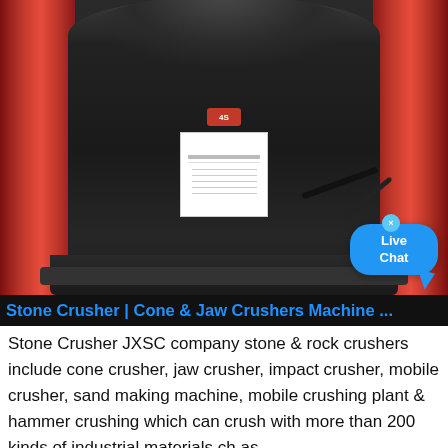[Figure (photo): Large industrial cone crusher machine with red cylindrical components on left and right sides, dark grey/black central body, white specification label plate on the machine. A Live Chat bubble widget appears in the lower right corner of the image.]
Stone Crusher | Cone & Jaw Crushers Machine ...
Stone Crusher JXSC company stone & rock crushers include cone crusher, jaw crusher, impact crusher, mobile crusher, sand making machine, mobile crushing plant & hammer crushing which can crush with more than 200 kinds of industrial materials ch as ...
Get price
[Figure (photo): Bottom strip of a photo showing rocks or gravel in an outdoor/quarry environment with green vegetation.]